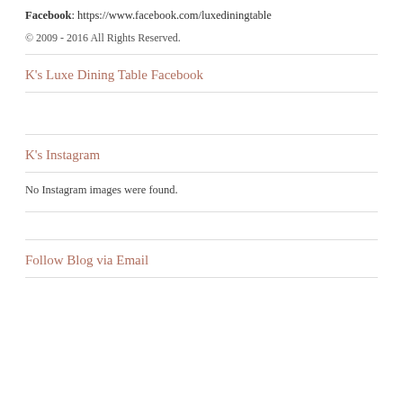Facebook: https://www.facebook.com/luxediningtable
© 2009 - 2016 All Rights Reserved.
K's Luxe Dining Table Facebook
K's Instagram
No Instagram images were found.
Follow Blog via Email